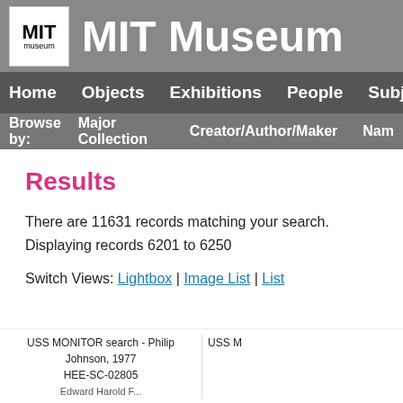MIT Museum
Home | Objects | Exhibitions | People | Subjects | Sites
Browse by: Major Collection | Creator/Author/Maker | Nam
Results
There are 11631 records matching your search.
Displaying records 6201 to 6250
Switch Views: Lightbox | Image List | List
USS MONITOR search - Philip Johnson, 1977
HEE-SC-02805
USS M